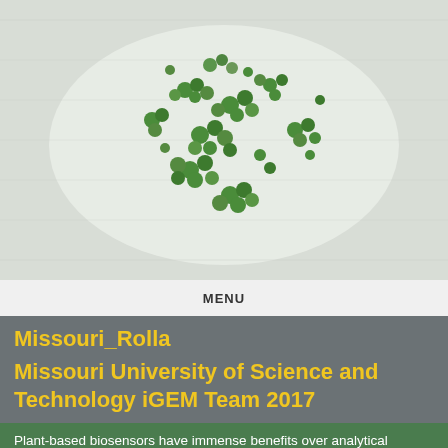[Figure (photo): Close-up photograph of small green Lemna (duckweed) plant clusters growing on a white gel/agar surface. The tiny spherical green plants are scattered in clusters across the white background.]
MENU
Missouri_Rolla
Missouri University of Science and Technology iGEM Team 2017
Plant-based biosensors have immense benefits over analytical chemistry or potentiometric techniques for a variety of reasons. Plants have an inherent biological property of taking up chemicals over time